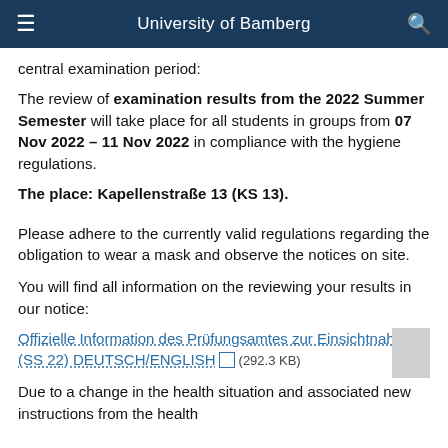University of Bamberg
central examination period:
The review of examination results from the 2022 Summer Semester will take place for all students in groups from 07 Nov 2022 – 11 Nov 2022 in compliance with the hygiene regulations.
The place: Kapellenstraße 13 (KS 13).
Please adhere to the currently valid regulations regarding the obligation to wear a mask and observe the notices on site.
You will find all information on the reviewing your results in our notice:
Offizielle Information des Prüfungsamtes zur Einsichtnahme (SS 22) DEUTSCH/ENGLISH (292.3 KB)
Due to a change in the health situation and associated new instructions from the health